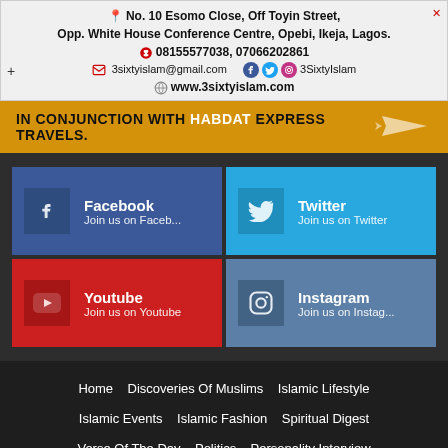No. 10 Esomo Close, Off Toyin Street, Opp. White House Conference Centre, Opebi, Ikeja, Lagos. 08155577038, 07066202861 3sixtyislam@gmail.com  3SixtyIslam  www.3sixtyislam.com
IN CONJUNCTION WITH HABDAT EXPRESS TRAVELS.
Facebook - Join us on Faceb...
Twitter - Join us on Twitter
Youtube - Join us on Youtube
Instagram - Join us on Instag...
Home
Discoveries Of Muslims
Islamic Lifestyle
Islamic Events
Islamic Fashion
Spiritual Digest
Verse Of The Day
Politics
Personality Interview
Health Corner